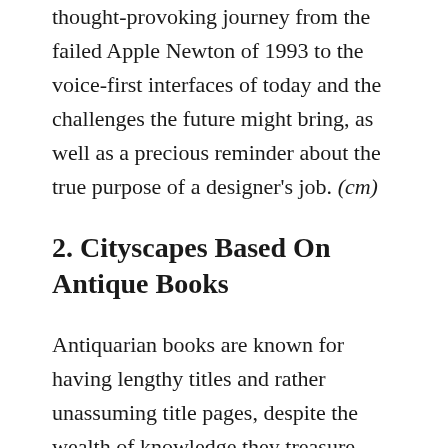thought-provoking journey from the failed Apple Newton of 1993 to the voice-first interfaces of today and the challenges the future might bring, as well as a precious reminder about the true purpose of a designer's job. (cm)
2. Cityscapes Based On Antique Books
Antiquarian books are known for having lengthy titles and rather unassuming title pages, despite the wealth of knowledge they treasure inside their covers. To illustrate the unique knowledge readers would find in them, Nicholas Rougeux started a very